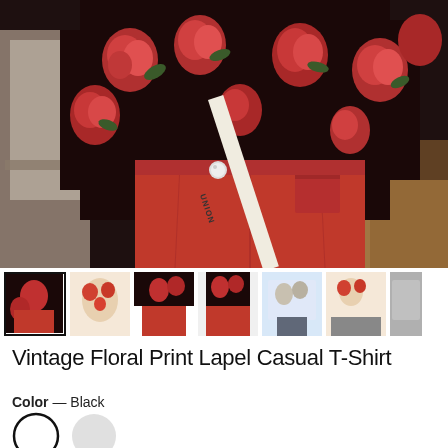[Figure (photo): Main product photo showing a person wearing a black floral rose print top with a red mini skirt and a white UNION strap bag, photographed indoors near a chair]
[Figure (photo): Row of 7 thumbnail images showing different views and color variants of the Vintage Floral Print Lapel Casual T-Shirt; first thumbnail is selected with a black border]
Vintage Floral Print Lapel Casual T-Shirt
Color — Black
[Figure (infographic): Two color swatch circles: first is white/outlined (selected, with black border), second is light gray (unselected)]